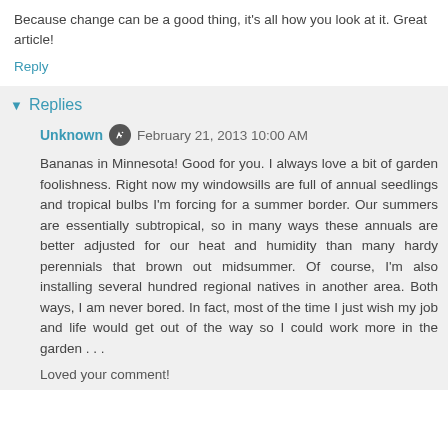Because change can be a good thing, it's all how you look at it. Great article!
Reply
Replies
Unknown  February 21, 2013 10:00 AM
Bananas in Minnesota! Good for you. I always love a bit of garden foolishness. Right now my windowsills are full of annual seedlings and tropical bulbs I'm forcing for a summer border. Our summers are essentially subtropical, so in many ways these annuals are better adjusted for our heat and humidity than many hardy perennials that brown out midsummer. Of course, I'm also installing several hundred regional natives in another area. Both ways, I am never bored. In fact, most of the time I just wish my job and life would get out of the way so I could work more in the garden . . .
Loved your comment!